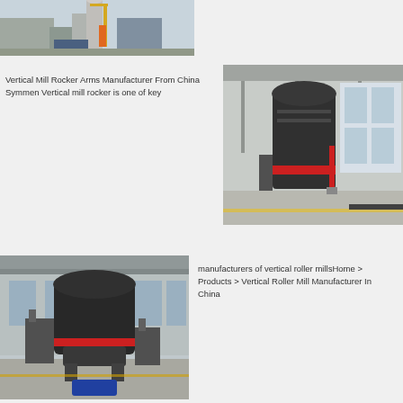[Figure (photo): Industrial facility with silos and machinery, outdoor view]
Vertical Mill Rocker Arms Manufacturer From China Symmen Vertical mill rocker is one of key
[Figure (photo): Large vertical roller mill machine inside a factory hall]
[Figure (photo): Vertical roller mill machine, front view inside industrial facility]
manufacturers of vertical roller millsHome > Products > Vertical Roller Mill Manufacturer In China